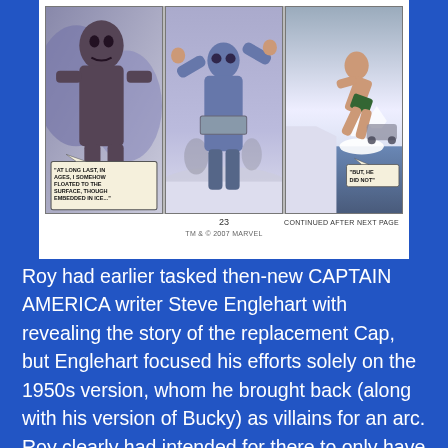[Figure (illustration): Comic book page showing three panels: left panel features a monster/creature figure in rocky snowy setting with speech bubble reading 'AT LONG LAST, IN AGES, I SOMEHOW FLOATED TO THE SURFACE, THOUGH EMBEDDED IN ICE...', middle panel shows a figure with arms raised in a snowy setting, right panel shows a figure diving/jumping with a speech bubble reading 'BUT, HE DID NOT'. Below panels: page number 23, text 'CONTINUED AFTER NEXT PAGE', and trademark 'TM & © 2007 MARVEL'.]
Roy had earlier tasked then-new CAPTAIN AMERICA writer Steve Englehart with revealing the story of the replacement Cap, but Englehart focused his efforts solely on the 1950s version, whom he brought back (along with his version of Bucky) as villains for an arc. Roy clearly had intended for there to only have been one Captain America replacement, but Englehart's choice eventually led him to fill in the